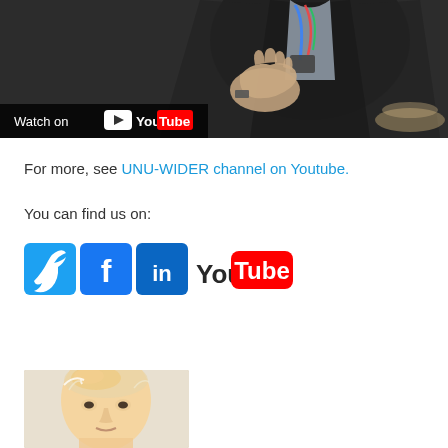[Figure (screenshot): YouTube video thumbnail showing a man in a dark suit gesturing with hands, with a 'Watch on YouTube' overlay bar at bottom left.]
For more, see UNU-WIDER channel on Youtube.
You can find us on:
[Figure (infographic): Social media icons: Twitter (blue bird), Facebook (blue f), LinkedIn (blue in), YouTube (red/white You Tube logo)]
[Figure (photo): Partial portrait photo of an elderly man with light hair, cropped at bottom of page.]